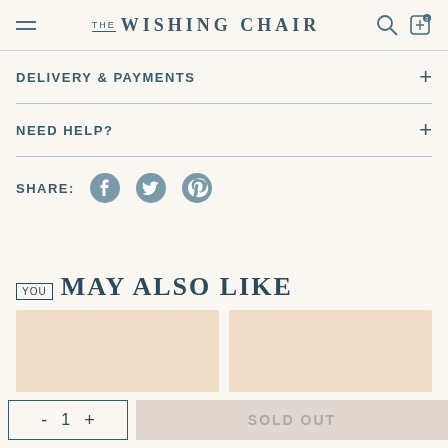THE WISHING CHAIR
DELIVERY & PAYMENTS
NEED HELP?
SHARE:
YOU MAY ALSO LIKE
[Figure (other): Two product image placeholder cards with peach/beige background]
- 1 + SOLD OUT